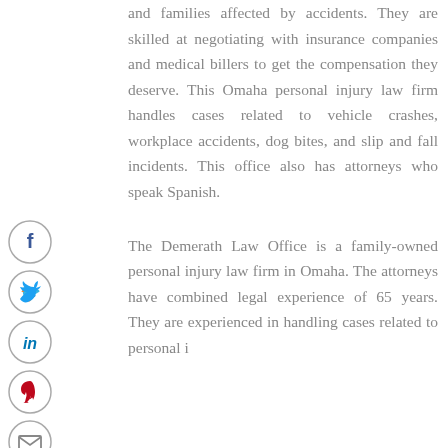[Figure (infographic): Vertical social media sharing icons: Facebook (blue circle), Twitter (light blue circle), LinkedIn (dark blue circle), Pinterest (red circle), Email (gray circle)]
and families affected by accidents. They are skilled at negotiating with insurance companies and medical billers to get the compensation they deserve. This Omaha personal injury law firm handles cases related to vehicle crashes, workplace accidents, dog bites, and slip and fall incidents. This office also has attorneys who speak Spanish.
The Demerath Law Office is a family-owned personal injury law firm in Omaha. The attorneys have combined legal experience of 65 years. They are experienced in handling cases related to personal i...